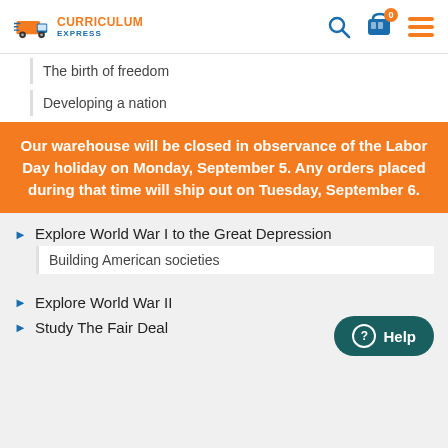Curriculum Express
The birth of freedom
Developing a nation
Our warehouse will be closed in observance of the Labor Day holiday on Monday, September 5. Any orders placed during that time will ship out on Tuesday, September 6.
Explore World War I to the Great Depression
Building American societies
Explore World War II
Study The Fair Deal